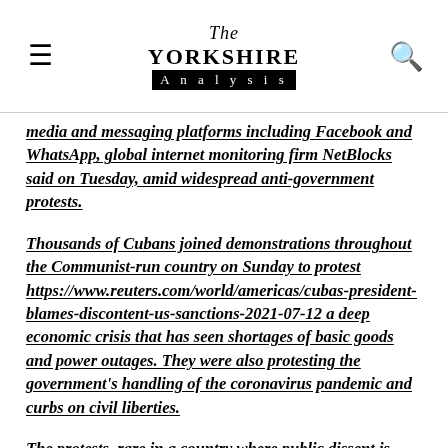The Yorkshire Analysis
media and messaging platforms including Facebook and WhatsApp, global internet monitoring firm NetBlocks said on Tuesday, amid widespread anti-government protests.
Thousands of Cubans joined demonstrations throughout the Communist-run country on Sunday to protest https://www.reuters.com/world/americas/cubas-president-blames-discontent-us-sanctions-2021-07-12 a deep economic crisis that has seen shortages of basic goods and power outages. They were also protesting the government's handling of the coronavirus pandemic and curbs on civil liberties.
The protests, rare in a country where public dissent is tightly restricted, largely died down by Sunday evening, as security